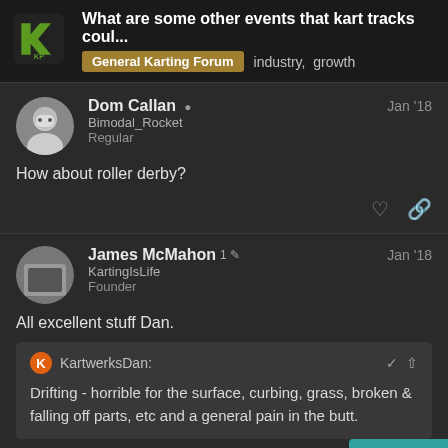What are some other events that kart tracks coul... | General Karting Forum | industry, growth
Dom Callan | Bimodal_Rocket | Regular | Jan '18
How about roller derby?
James McMahon | KartingIsLife | Founder | 1 edit | Jan '18
All excellent stuff Dan.
KartwerksDan: Drifting - horrible for the surface, curbing, grass, broken & falling off parts, etc and a general pain in the butt.
Can repairs and the extra maintenance/cle
30 / 39